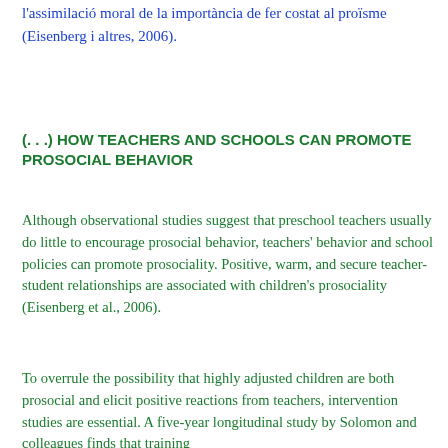l'assimilació moral de la importància de fer costat al proïsme (Eisenberg i altres, 2006).
(. . .) HOW TEACHERS AND SCHOOLS CAN PROMOTE PROSOCIAL BEHAVIOR
Although observational studies suggest that preschool teachers usually do little to encourage prosocial behavior, teachers' behavior and school policies can promote prosociality. Positive, warm, and secure teacher-student relationships are associated with children's prosociality (Eisenberg et al., 2006).
To overrule the possibility that highly adjusted children are both prosocial and elicit positive reactions from teachers, intervention studies are essential. A five-year longitudinal study by Solomon and colleagues finds that training